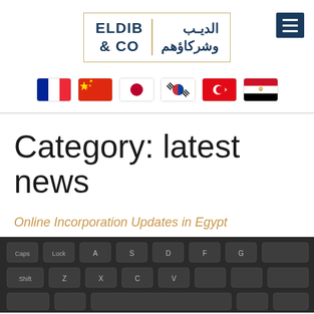[Figure (logo): Eldib & Co law firm logo with Arabic text, inside a gold bordered rectangle, and a dark blue hamburger menu icon in top right]
[Figure (infographic): Row of six country flag icons: France, China, Japan, South Korea, Turkey, Egypt]
Category: latest news
Online Incorporation Updates in Egypt
[Figure (photo): Close-up photograph of a dark computer keyboard with backlit keys]